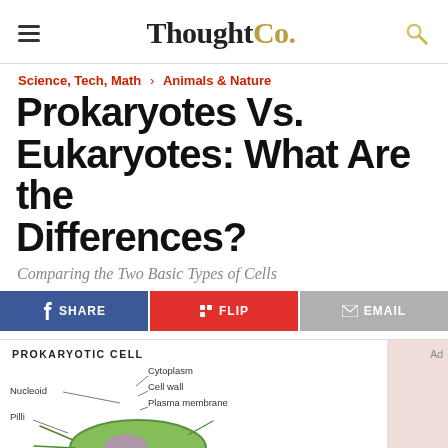ThoughtCo.
Science, Tech, Math › Animals & Nature
Prokaryotes Vs. Eukaryotes: What Are the Differences?
Comparing the Two Basic Types of Cells
SHARE | FLIP | EMAIL
[Figure (illustration): Diagram of a prokaryotic cell labeled with: Nucleoid, Cytoplasm, Cell wall, Plasma membrane, Pilli, and Cytoskeleton (partially visible). A green rod-shaped bacterium is shown with internal structures.]